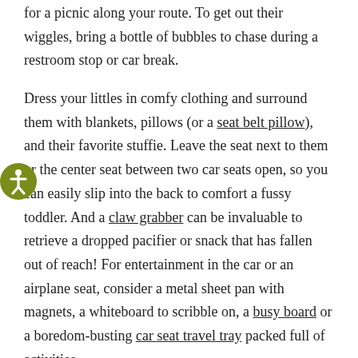for a picnic along your route. To get out their wiggles, bring a bottle of bubbles to chase during a restroom stop or car break.
Dress your littles in comfy clothing and surround them with blankets, pillows (or a seat belt pillow), and their favorite stuffie. Leave the seat next to them or the center seat between two car seats open, so you can easily slip into the back to comfort a fussy toddler. And a claw grabber can be invaluable to retrieve a dropped pacifier or snack that has fallen out of reach! For entertainment in the car or an airplane seat, consider a metal sheet pan with magnets, a whiteboard to scribble on, a busy board or a boredom-busting car seat travel tray packed full of activities.
Let's face it: toddlers can be messy. Keep your car clean